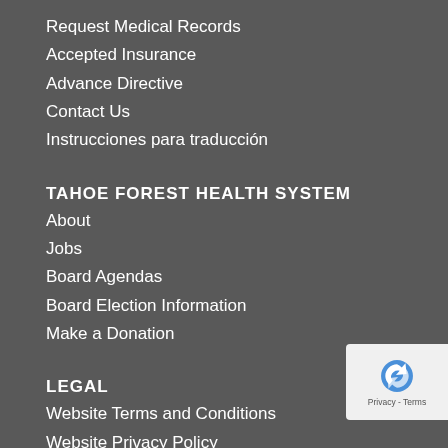Request Medical Records
Accepted Insurance
Advance Directive
Contact Us
Instrucciones para traducción
TAHOE FOREST HEALTH SYSTEM
About
Jobs
Board Agendas
Board Election Information
Make a Donation
LEGAL
Website Terms and Conditions
Website Privacy Policy
Notice of Nondiscrimination - Tahoe Forest Hospital District
Notice of Nondiscrimination - Incline Village Community Ho
Notice of TFHS Privacy